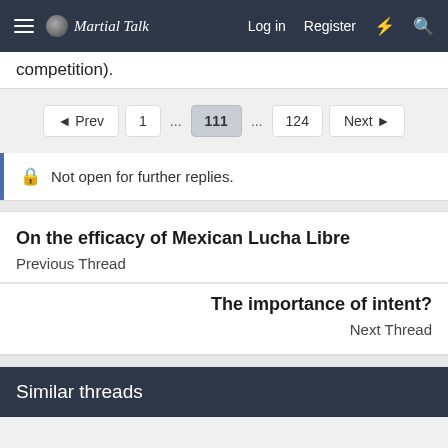Martial Talk — Log in   Register
competition).
◄ Prev   1   ...   111   ...   124   Next ►
Not open for further replies.
On the efficacy of Mexican Lucha Libre
Previous Thread
The importance of intent?
Next Thread
Similar threads